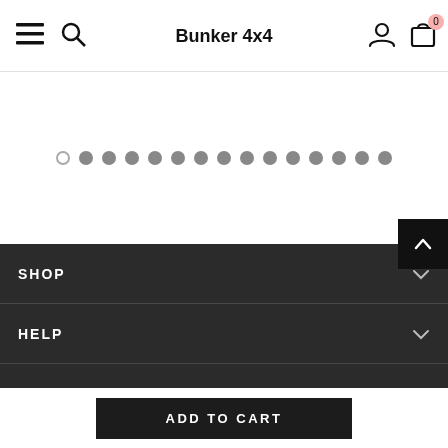Bunker 4x4
[Figure (other): Carousel pagination dots: one empty circle followed by 14 filled grey circles]
[Figure (other): Back to top button (dark square with upward chevron arrow)]
SHOP
HELP
ASSOCIATES
ADD TO CART